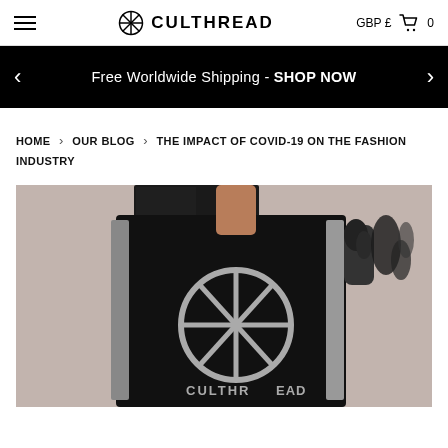CULTHREAD  GBP £  0
Free Worldwide Shipping - SHOP NOW
HOME > OUR BLOG > THE IMPACT OF COVID-19 ON THE FASHION INDUSTRY
[Figure (photo): Fashion model holding up a black and silver Culthread branded jacket with logo, wearing a black sequin mini dress, shot on grey background]